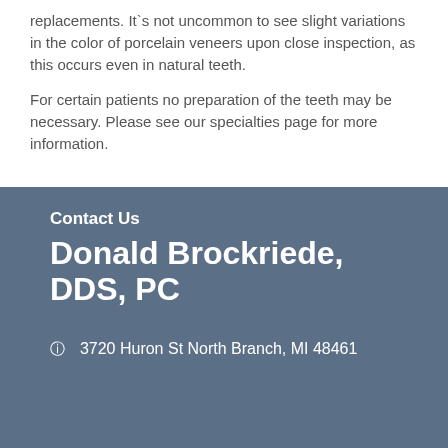replacements. It's not uncommon to see slight variations in the color of porcelain veneers upon close inspection, as this occurs even in natural teeth.
For certain patients no preparation of the teeth may be necessary. Please see our specialties page for more information.
Contact Us
Donald Brockriede, DDS, PC
3720 Huron St North Branch, MI 48461